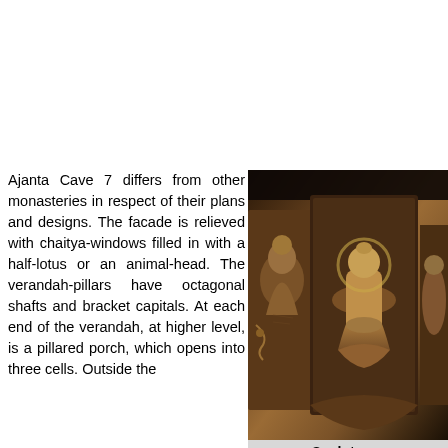Ajanta Cave 7 differs from other monasteries in respect of their plans and designs. The facade is relieved with chaitya-windows filled in with a half-lotus or an animal-head. The verandah-pillars have octagonal shafts and bracket capitals. At each end of the verandah, at higher level, is a pillared porch, which opens into three cells. Outside the verandah is also an each extremity. The shrine has a seated image of Lord Buddha with an elliptical halo carved on the back wall.
[Figure (photo): Stone sculptures carved in Ajanta Cave 7, showing seated Buddha and attendant figures in relief]
Sculptures
The door-jambs and lintel are similarly decorated with figures of Buddha, the top corners only having female figures on makaras; the modelling and pose of the female figures, particularly the left one, are captivating. Both the left and right walls of the antechamber are carved with the Miracle of Sravasti. The back walls of the antechamber also have a number of figures of Buddha; the topmost one on the right side is seated on the coil of a seven-hooded Naga, most probably representing the incidents of the Naga king Muchilinda's providing a shed over